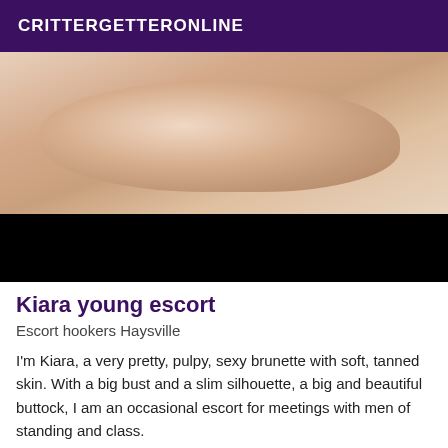CRITTERGETTERONLINE
[Figure (photo): Close-up photo of a person's arm and torso with soft tanned skin, bottom portion obscured by a black bar]
Kiara young escort
Escort hookers Haysville
I'm Kiara, a very pretty, pulpy, sexy brunette with soft, tanned skin. With a big bust and a slim silhouette, a big and beautiful buttock, I am an occasional escort for meetings with men of standing and class.
[Figure (photo): Partial view of a second listing image with a VIP badge in the top right corner]